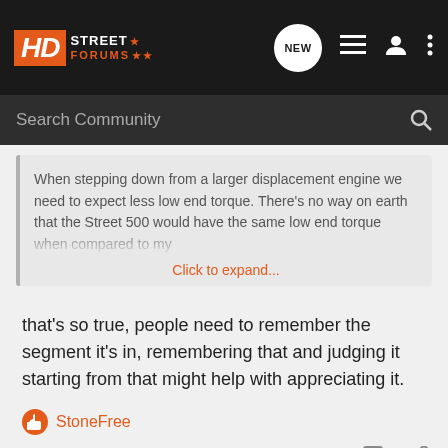[Figure (screenshot): HD Street Forums navigation bar with logo, NEW bubble, list icon, user icon, and dots menu icon on dark background]
[Figure (screenshot): Search Community search bar on dark background with magnifier icon]
When stepping down from a larger displacement engine we need to expect less low end torque. There's no way on earth that the Street 500 would have the same low end torque when compared to my
Click to expand...
that's so true, people need to remember the segment it's in, remembering that and judging it starting from that might help with appreciating it.
StoneFree